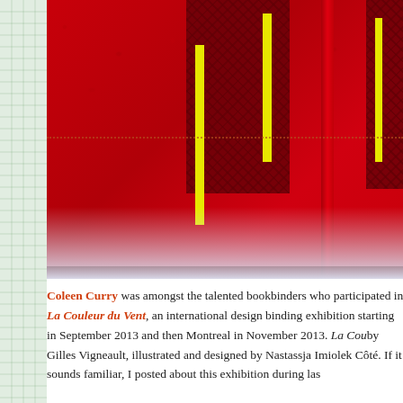[Figure (photo): Close-up photograph of red leather bookbinding with dark maroon textured inlay panels and yellow vertical stripe accents, with a dotted decorative line across the cover. Shows two books side by side with a spine visible.]
Coleen Curry was amongst the talented bookbinders who participated in La Couleur du Vent, an international design binding exhibition starting in September 2013 and then Montreal in November 2013. La Cou... by Gilles Vigneault, illustrated and designed by Nastassja Imiolek... Côté. If it sounds familiar, I posted about this exhibition during las...